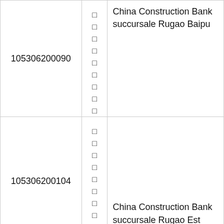| ID | Characters | Name |
| --- | --- | --- |
| 105306200090 | □□□□□□□□□□ | China Construction Bank succursale Rugao Baipu |
| 105306200104 | □□□□□□□□□□ | China Construction Bank succursale Rugao Est Chen |